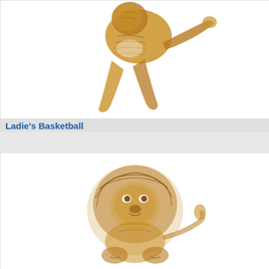[Figure (illustration): Embroidered patch illustration of a lady's basketball player figure in brown/gold tones on white background, shown in upper-left area]
Ladie's Basketball
$12.00
[Figure (illustration): Embroidered patch illustration of a lion or similar animal figure in brown/gold tones on white background, centered in lower card]